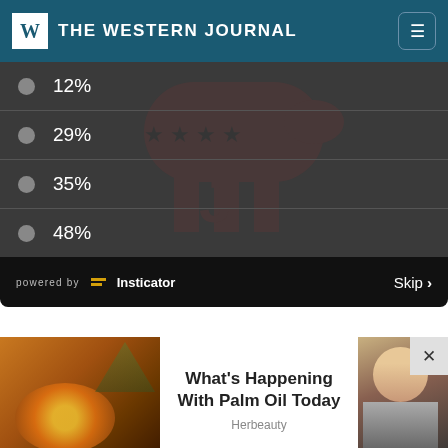THE WESTERN JOURNAL
12%
29%
35%
48%
powered by Insticator   Skip >
[Figure (screenshot): Ad section with palm oil image on left, article title 'What's Happening With Palm Oil Today' from Herbeauty in center, and a portrait photo on the right with close button]
What's Happening With Palm Oil Today
Herbeauty